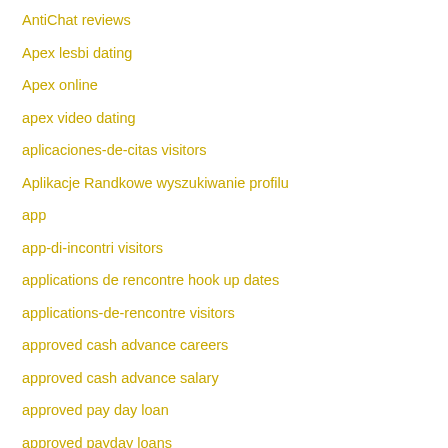AntiChat reviews
Apex lesbi dating
Apex online
apex video dating
aplicaciones-de-citas visitors
Aplikacje Randkowe wyszukiwanie profilu
app
app-di-incontri visitors
applications de rencontre hook up dates
applications-de-rencontre visitors
approved cash advance careers
approved cash advance salary
approved pay day loan
approved payday loans
Apps best canadian gambling